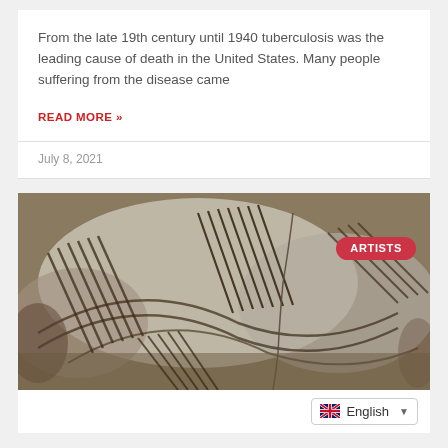From the late 19th century until 1940 tuberculosis was the leading cause of death in the United States. Many people suffering from the disease came
READ MORE »
July 8, 2021
[Figure (photo): Close-up photograph of an ancient pottery vessel with geometric black-on-white painted designs including diagonal lines, hatched patterns, and curved motifs. An 'ARTISTS' badge is overlaid in the top-right corner.]
English